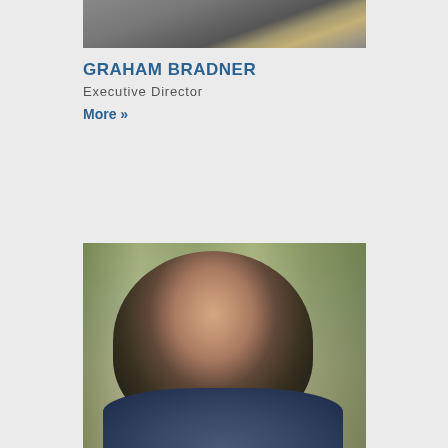[Figure (photo): Partial photo of a man in a suit and tie, cropped at the torso/neck area, top portion of page]
GRAHAM BRADNER
Executive Director
More »
[Figure (photo): Photo of a woman with dark hair and bangs, smiling outdoors with trees in background, wearing a dark floral top]